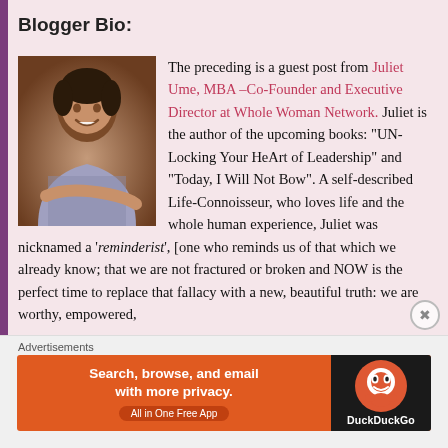Blogger Bio:
The preceding is a guest post from Juliet Ume, MBA –Co-Founder and Executive Director at Whole Woman Network. Juliet is the author of the upcoming books: “UN-Locking Your HeArt of Leadership” and “Today, I Will Not Bow”. A self-described Life-Connoisseur, who loves life and the whole human experience, Juliet was nicknamed a ‘reminderist’, [one who reminds us of that which we already know; that we are not fractured or broken and NOW is the perfect time to replace that fallacy with a new, beautiful truth: we are worthy, empowered,
[Figure (photo): Headshot photo of Juliet Ume, a woman smiling, wearing a patterned top]
Advertisements
[Figure (other): DuckDuckGo advertisement banner: 'Search, browse, and email with more privacy. All in One Free App' with DuckDuckGo logo on dark background]